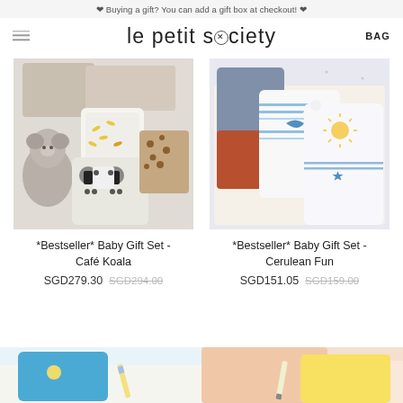❤ Buying a gift? You can add a gift box at checkout! ❤
le petit society
BAG
[Figure (photo): Baby gift set product photo showing folded baby clothes with panda and banana prints, a koala stuffed animal, and various gift items arranged together - Café Koala set]
*Bestseller* Baby Gift Set - Café Koala
SGD279.30 SGD294.00
[Figure (photo): Baby gift set product photo showing folded baby clothes in blue, white and orange colors with stripes and animal prints arranged in a box - Cerulean Fun set]
*Bestseller* Baby Gift Set - Cerulean Fun
SGD151.05 SGD159.00
[Figure (photo): Partial view of two more baby product items at the bottom of the page - blue garment on left, peach/orange items on right]